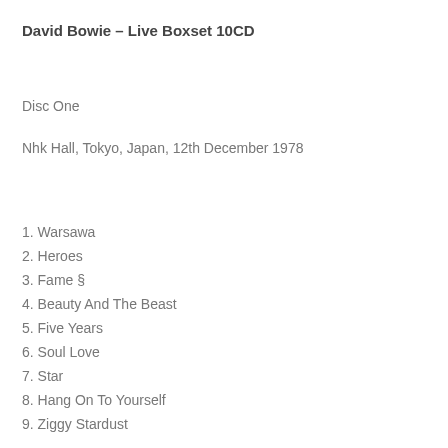David Bowie – Live Boxset 10CD
Disc One
Nhk Hall, Tokyo, Japan, 12th December 1978
1. Warsawa
2. Heroes
3. Fame §
4. Beauty And The Beast
5. Five Years
6. Soul Love
7. Star
8. Hang On To Yourself
9. Ziggy Stardust